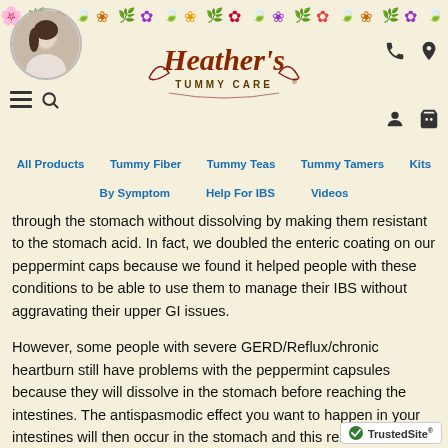[Figure (illustration): Heather's Tummy Care website header with floral border, profile photo, logo, navigation icons, and nav menu]
through the stomach without dissolving by making them resistant to the stomach acid. In fact, we doubled the enteric coating on our peppermint caps because we found it helped people with these conditions to be able to use them to manage their IBS without aggravating their upper GI issues.
However, some people with severe GERD/Reflux/chronic heartburn still have problems with the peppermint capsules because they will dissolve in the stomach before reaching the intestines. The antispasmodic effect you want to happen in your intestines will then occur in the stomach and this relaxes the sphincters at the top of the stomach. If this happens, it can lead to heartburn.